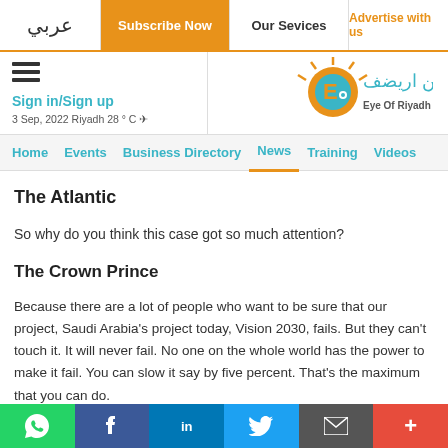عربي | Subscribe Now | Our Services | Advertise with us
[Figure (logo): Eye of Riyadh logo with Arabic text and sun/globe icon]
Sign in/Sign up
3 Sep, 2022 Riyadh 28 ° C
Home | Events | Business Directory | News | Training | Videos
The Atlantic
So why do you think this case got so much attention?
The Crown Prince
Because there are a lot of people who want to be sure that our project, Saudi Arabia's project today, Vision 2030, fails. But they can't touch it. It will never fail. No one on the whole world has the power to make it fail. You can slow it say by five percent. That's the maximum that you can do.